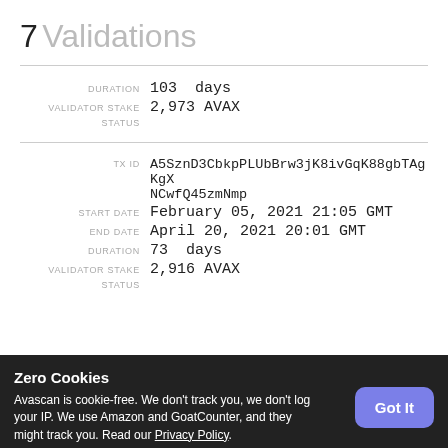7 Validations
DURATION: 103 days | VALIDATOR STAKE: 2,973 AVAX | STATUS:
TX ID: A5SznD3CbkpPLUbBrw3jK8ivGqK88gbTAgKgXNCwfQ45zmNmp | START DATE: February 05, 2021 21:05 GMT | END DATE: April 20, 2021 20:01 GMT | DURATION: 73 days | VALIDATOR STAKE: 2,916 AVAX | STATUS:
Zero Cookies
Avascan is cookie-free. We don't track you, we don't log your IP. We use Amazon and GoatCounter, and they might track you. Read our Privacy Policy.